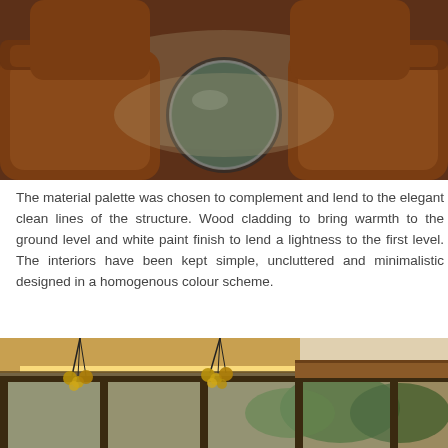[Figure (photo): Interior photo showing brown leather sofas/chairs arranged around a round glass-topped coffee table with circular mirror base reflecting trees; viewed from above]
The material palette was chosen to complement and lend to the elegant clean lines of the structure. Wood cladding to bring warmth to the ground level and white paint finish to lend a lightness to the first level. The interiors have been kept simple, uncluttered and minimalistic designed in a homogenous colour scheme.
[Figure (photo): Interior/exterior photo of a modern home showing floor-to-ceiling glass sliding doors, warm LED strip lighting in the ceiling cove, cluster pendant lights hanging from ceiling, and a view of lush trees outside]